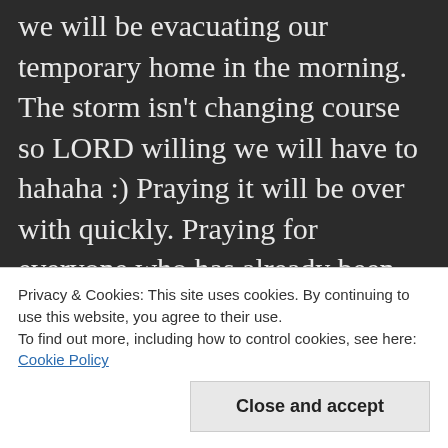we will be evacuating our temporary home in the morning. The storm isn't changing course so LORD willing we will have to hahaha :) Praying it will be over with quickly. Praying for everyone who has already been through it. Praying for everyone here as there are people here who are still without homes from the storm last year, and it will be years before they get their homes back. Now they are facing another. Praying for us all :) Praying for our
Privacy & Cookies: This site uses cookies. By continuing to use this website, you agree to their use.
To find out more, including how to control cookies, see here: Cookie Policy
Close and accept